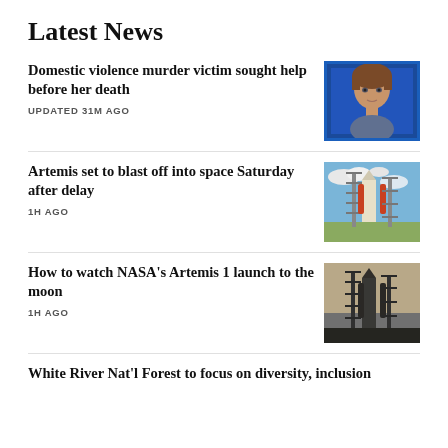Latest News
Domestic violence murder victim sought help before her death
UPDATED 31M AGO
[Figure (photo): Portrait photo of a woman with short brown hair, framed with a blue border]
Artemis set to blast off into space Saturday after delay
1H AGO
[Figure (photo): Rocket on launch pad with blue sky and clouds]
How to watch NASA's Artemis 1 launch to the moon
1H AGO
[Figure (photo): Rocket on launch pad at dusk or hazy sky]
White River Nat'l Forest to focus on diversity, inclusion